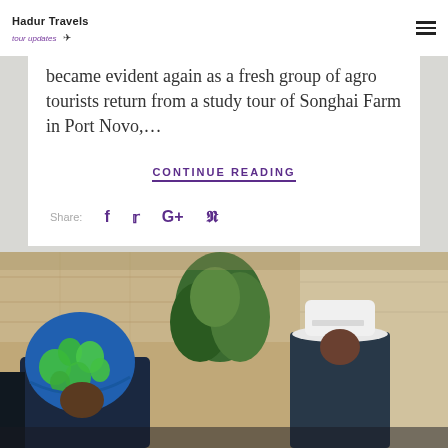Hadur Travels tour updates
became evident again as a fresh group of agro tourists return from a study tour of Songhai Farm in Port Novo,...
CONTINUE READING
Share:
[Figure (photo): Photo of tourists, one wearing a colorful blue and green headscarf, another wearing a white cap, in front of a stone building with plants]